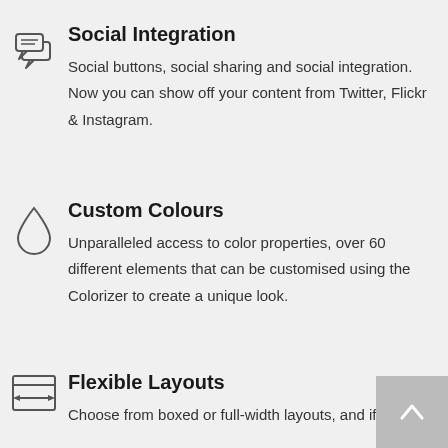[Figure (illustration): Two overlapping speech/comment bubble icons in outline style]
Social Integration
Social buttons, social sharing and social integration. Now you can show off your content from Twitter, Flickr & Instagram.
[Figure (illustration): Water drop / teardrop icon in outline style]
Custom Colours
Unparalleled access to color properties, over 60 different elements that can be customised using the Colorizer to create a unique look.
[Figure (illustration): Layout/browser window with horizontal resize arrows icon in outline style]
Flexible Layouts
Choose from boxed or full-width layouts, and if you